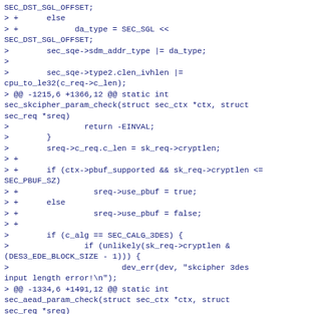SEC_DST_SGL_OFFSET;
> +      else
> +            da_type = SEC_SGL << SEC_DST_SGL_OFFSET;
>        sec_sqe->sdm_addr_type |= da_type;
>
>        sec_sqe->type2.clen_ivhlen |= cpu_to_le32(c_req->c_len);
> @@ -1215,6 +1366,12 @@ static int sec_skcipher_param_check(struct sec_ctx *ctx, struct sec_req *sreq)
>                return -EINVAL;
>        }
>        sreq->c_req.c_len = sk_req->cryptlen;
> +
> +      if (ctx->pbuf_supported && sk_req->cryptlen <= SEC_PBUF_SZ)
> +                sreq->use_pbuf = true;
> +      else
> +                sreq->use_pbuf = false;
> +
>        if (c_alg == SEC_CALG_3DES) {
>                if (unlikely(sk_req->cryptlen & (DES3_EDE_BLOCK_SIZE - 1))) {
>                        dev_err(dev, "skcipher 3des input length error!\n");
> @@ -1334,6 +1491,12 @@ static int sec_aead_param_check(struct sec_ctx *ctx, struct sec_req *sreq)
>                return -EINVAL;